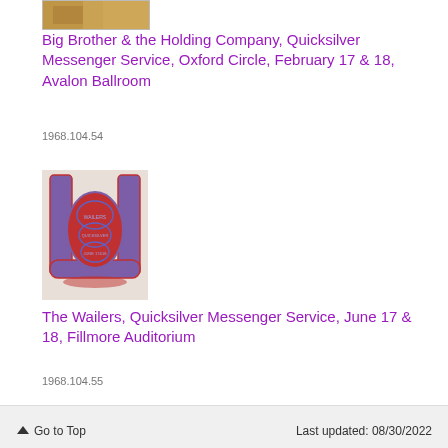[Figure (photo): Small thumbnail image of a concert poster (partially visible, warm brown/golden tones)]
Big Brother & the Holding Company, Quicksilver Messenger Service, Oxford Circle, February 17 & 18, Avalon Ballroom
1968.104.54
[Figure (photo): Concert poster featuring a large stylized 'U' shape in red and blue with psychedelic lettering inside, for The Wailers, Quicksilver Messenger Service, June 17 & 18, Fillmore Auditorium]
The Wailers, Quicksilver Messenger Service, June 17 & 18, Fillmore Auditorium
1968.104.55
↑ Go to Top   Last updated: 08/30/2022